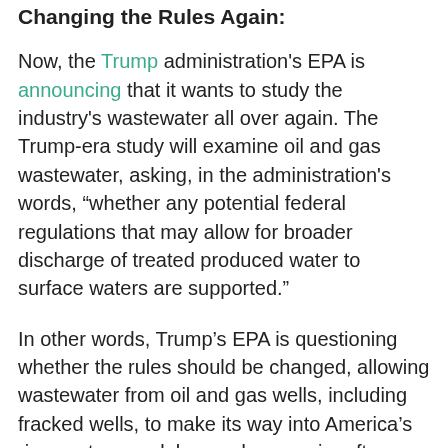Changing the Rules Again:
Now, the Trump administration's EPA is announcing that it wants to study the industry's wastewater all over again. The Trump-era study will examine oil and gas wastewater, asking, in the administration's words, “whether any potential federal regulations that may allow for broader discharge of treated produced water to surface waters are supported.”
In other words, Trump’s EPA is questioning whether the rules should be changed, allowing wastewater from oil and gas wells, including fracked wells, to make its way into America’s rivers, streams, lakes and reservoirs after some treatment.